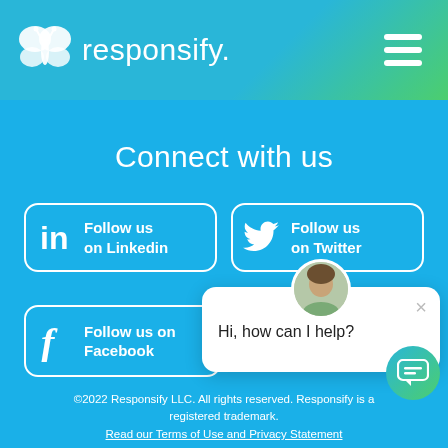[Figure (logo): Responsify logo with butterfly icon and wordmark 'responsify.' on a blue-green gradient header bar with hamburger menu icon]
Connect with us
[Figure (screenshot): LinkedIn 'Follow us on Linkedin' button with LinkedIn icon outline]
[Figure (screenshot): Twitter 'Follow us on Twitter' button with Twitter bird icon outline]
[Figure (screenshot): Facebook 'Follow us on Facebook' button with Facebook f icon, partially overlapped by chat popup]
[Figure (screenshot): Chat popup overlay with avatar photo, close X button, and text 'Hi, how can I help?']
©2022 Responsify LLC. All rights reserved. Responsify is a registered trademark.
Read our Terms of Use and Privacy Statement
[Figure (screenshot): Teal chat bubble button in bottom right corner]